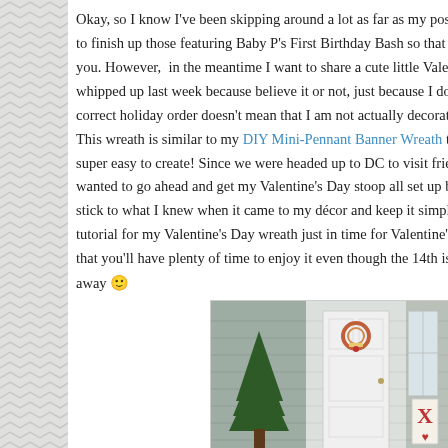Okay, so I know I've been skipping around a lot as far as my pos to finish up those featuring Baby P's First Birthday Bash so that you. However, in the meantime I want to share a cute little Vale whipped up last week because believe it or not, just because I do correct holiday order doesn't mean that I am not actually decorat This wreath is similar to my DIY Mini-Pennant Banner Wreath t super easy to create! Since we were headed up to DC to visit frie wanted to go ahead and get my Valentine's Day stoop all set up b stick to what I knew when it came to my décor and keep it simpl tutorial for my Valentine's Day wreath just in time for Valentine' that you'll have plenty of time to enjoy it even though the 14th is away 🙂
[Figure (photo): Photo of a front door/stoop decorated for Valentine's Day, showing a wreath on a white door, a small evergreen tree, and an XO sign visible on the right side.]